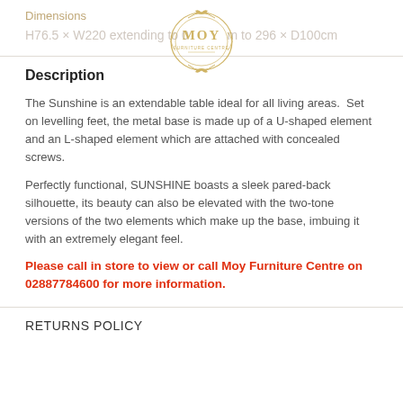Dimensions
H76.5 × W220 extending to 0... m to 296 × D100cm
[Figure (logo): MOY Furniture Centre gold ornate logo]
Description
The Sunshine is an extendable table ideal for all living areas.  Set on levelling feet, the metal base is made up of a U-shaped element and an L-shaped element which are attached with concealed screws.
Perfectly functional, SUNSHINE boasts a sleek pared-back silhouette, its beauty can also be elevated with the two-tone versions of the two elements which make up the base, imbuing it with an extremely elegant feel.
Please call in store to view or call Moy Furniture Centre on 02887784600 for more information.
RETURNS POLICY